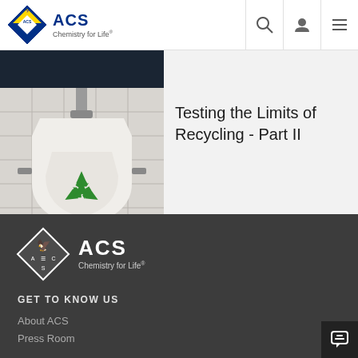ACS Chemistry for Life
[Figure (photo): Partially visible dark photo (top image strip, cropped)]
[Figure (photo): Photo of a white urinal on white tile wall with a green recycling symbol printed on it]
Testing the Limits of Recycling - Part II
[Figure (logo): ACS Chemistry for Life logo in white on dark footer background]
GET TO KNOW US
About ACS
Press Room